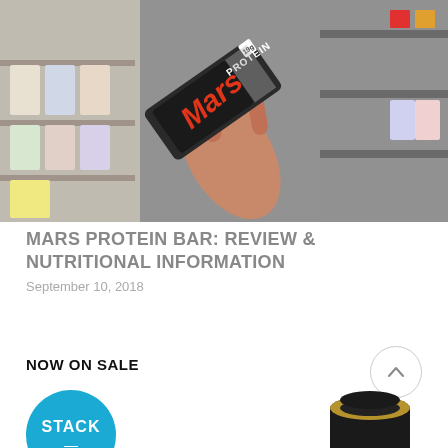[Figure (photo): A hand holding a Mars Protein bar in a supplement/health food store aisle with shelves visible in the background.]
MARS PROTEIN BAR: REVIEW & NUTRITIONAL INFORMATION
September 10, 2018
NOW ON SALE
[Figure (logo): Blue circle with STACK text and a dash — STACK brand logo]
[Figure (photo): Black supplement container/bottle partially visible at bottom right]